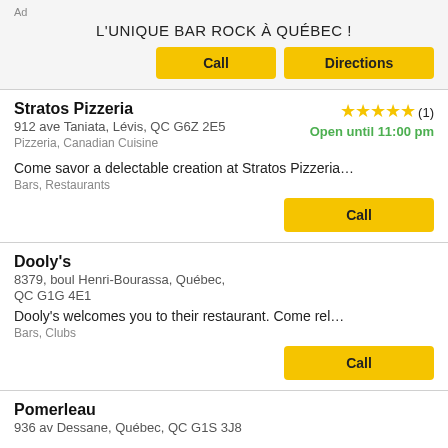Ad
L'UNIQUE BAR ROCK À QUÉBEC !
Call | Directions
Stratos Pizzeria
912 ave Taniata, Lévis, QC G6Z 2E5
Pizzeria, Canadian Cuisine
★★★★★ (1)
Open until 11:00 pm
Come savor a delectable creation at Stratos Pizzeria…
Bars, Restaurants
Call
Dooly's
8379, boul Henri-Bourassa, Québec, QC G1G 4E1
Dooly's welcomes you to their restaurant. Come rel…
Bars, Clubs
Call
Pomerleau
936 av Dessane, Québec, QC G1S 3J8